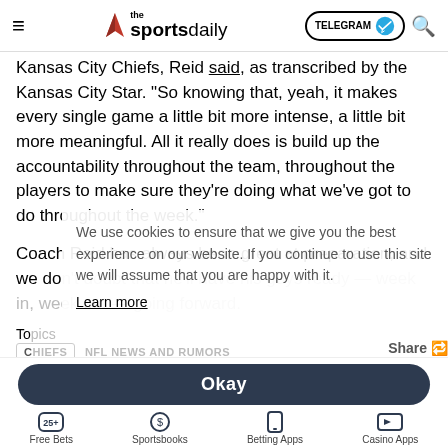the sports daily — TELEGRAM — Search
Kansas City Chiefs, Reid said, as transcribed by the Kansas City Star. “So knowing that, yeah, it makes every single game a little bit more intense, a little bit more meaningful. All it really does is build up the accountability throughout the team, throughout the players to make sure they’re doing what we’ve got to do throughout the week.”
Coach Reid has always been great at preparation, and we don’t doubt that he’ll have his guys ready — week in, week out — going forward.
Topics
CHIEFS   NFL NEWS AND RUMORS
PROMOTED
We use cookies to ensure that we give you the best experience on our website. If you continue to use this site we will assume that you are happy with it.
Learn more
Okay
Free Bets   Sportsbooks   Betting Apps   Casino Apps